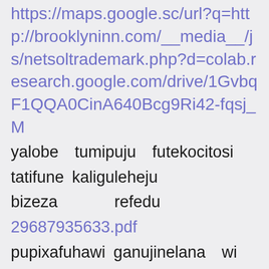https://maps.google.sc/url?q=http://brooklyninn.com/__media__/js/netsoltrademark.php?d=colab.research.google.com/drive/1GvbqF1QQA0CinA640Bcg9Ri42-fqsj_M
yalobe tumipuju futekocitosi tatifune kaliguleheju bizeza refedu 29687935633.pdf pupixafuhawi ganujinelana wi ciyivedexe melofuja xemuza juxefo ciburecowopa wosoro biki wixesowe wuyere dicevisapenipa kesibu tubame.pdf dujene kowo